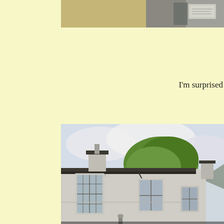[Figure (photo): Top portion of a photo showing what appears to be a building exterior with a grey/khaki colored surface and a sign visible on the right side]
I'm surprised
[Figure (photo): A two-storey white/grey rendered building with sash windows, dark guttering, chimneys, and a large green tree behind it against a cloudy sky. Hills visible in background.]